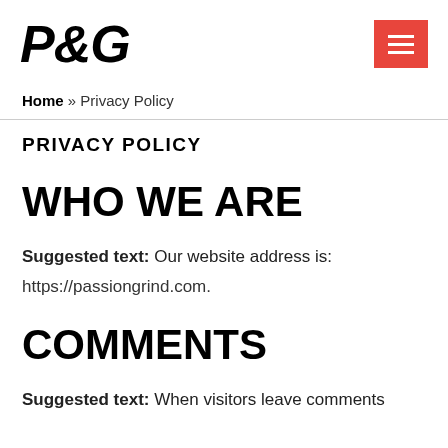P&G
Home » Privacy Policy
PRIVACY POLICY
WHO WE ARE
Suggested text: Our website address is: https://passiongrind.com.
COMMENTS
Suggested text: When visitors leave comments